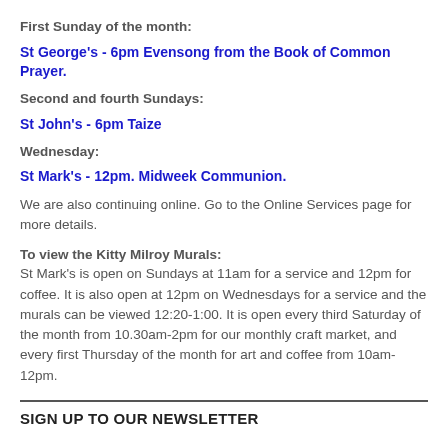First Sunday of the month:
St George's - 6pm Evensong from the Book of Common Prayer.
Second and fourth Sundays:
St John's - 6pm Taize
Wednesday:
St Mark's - 12pm. Midweek Communion.
We are also continuing online. Go to the Online Services page for more details.
To view the Kitty Milroy Murals: St Mark's is open on Sundays at 11am for a service and 12pm for coffee. It is also open at 12pm on Wednesdays for a service and the murals can be viewed 12:20-1:00. It is open every third Saturday of the month from 10.30am-2pm for our monthly craft market, and every first Thursday of the month for art and coffee from 10am-12pm.
SIGN UP TO OUR NEWSLETTER